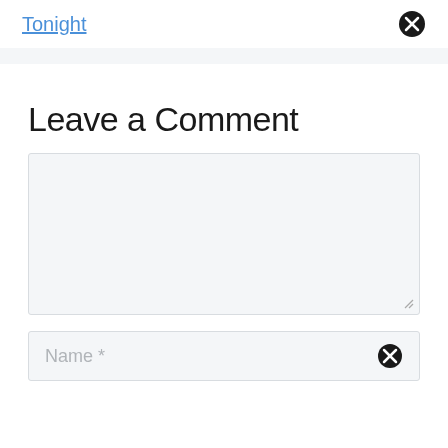Tonight
Leave a Comment
[Comment text area]
Name *